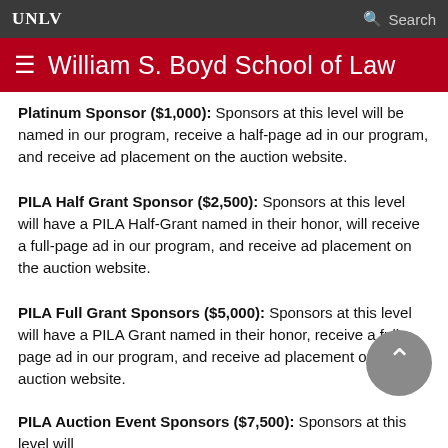UNLV — Search
William S. Boyd School of Law
Platinum Sponsor ($1,000): Sponsors at this level will be named in our program, receive a half-page ad in our program, and receive ad placement on the auction website.
PILA Half Grant Sponsor ($2,500): Sponsors at this level will have a PILA Half-Grant named in their honor, will receive a full-page ad in our program, and receive ad placement on the auction website.
PILA Full Grant Sponsors ($5,000): Sponsors at this level will have a PILA Grant named in their honor, receive a full page ad in our program, and receive ad placement on the auction website.
PILA Auction Event Sponsors ($7,500): Sponsors at this level will